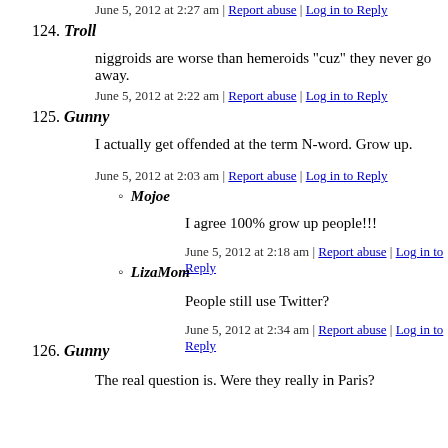June 5, 2012 at 2:27 am | Report abuse | Log in to Reply
124. Troll
niggroids are worse than hemeroids "cuz" they never go away.
June 5, 2012 at 2:22 am | Report abuse | Log in to Reply
125. Gunny
I actually get offended at the term N-word. Grow up.
June 5, 2012 at 2:03 am | Report abuse | Log in to Reply
Mojoe
I agree 100% grow up people!!!
June 5, 2012 at 2:18 am | Report abuse | Log in to Reply
LizaMom
People still use Twitter?
June 5, 2012 at 2:34 am | Report abuse | Log in to Reply
126. Gunny
The real question is. Were they really in Paris?